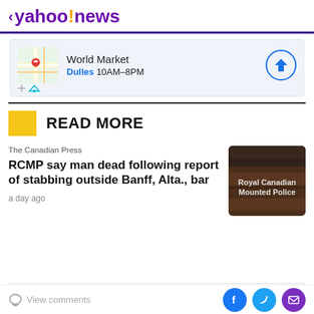< yahoo!news
[Figure (other): Advertisement banner for World Market in Dulles, 10AM-8PM, with map thumbnail and navigation arrow icon]
READ MORE
The Canadian Press
RCMP say man dead following report of stabbing outside Banff, Alta., bar
a day ago
View comments